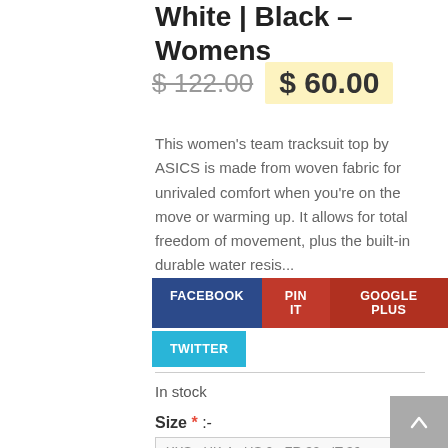White | Black – Womens
$122.00  $60.00
This women's team tracksuit top by ASICS is made from woven fabric for unrivaled comfort when you're on the move or warming up. It allows for total freedom of movement, plus the built-in durable water resis...
FACEBOOK  PIN IT  GOOGLE PLUS  TWITTER
In stock
Size * :-
XXS - UK 4 - US 0 - FR 32 - IT 36